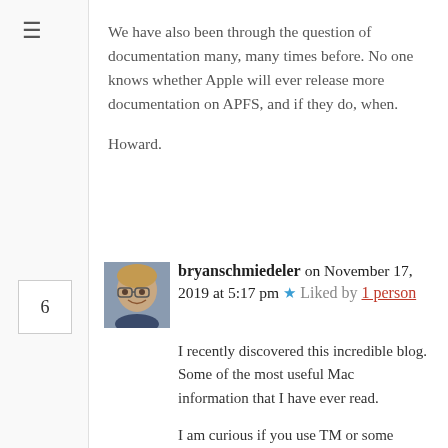We have also been through the question of documentation many, many times before. No one knows whether Apple will ever release more documentation on APFS, and if they do, when.
Howard.
bryanschmiedeler on November 17, 2019 at 5:17 pm ★ Liked by 1 person
I recently discovered this incredible blog. Some of the most useful Mac information that I have ever read.

I am curious if you use TM or some third-party app to backup your system? I have used TM for years but also backed up my Mac to a different